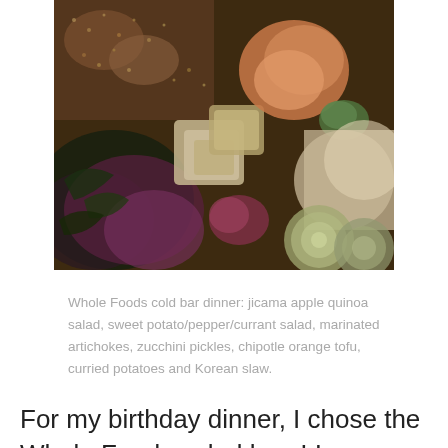[Figure (photo): Close-up photo of a colorful cold bar salad from Whole Foods, showing mixed vegetables including greens, red cabbage, tofu cubes, sliced zucchini, and various other ingredients.]
Whole Foods cold bar dinner: jicama apple quinoa salad, sweet potato/pepper/currant salad, marinated artichokes, zucchini pickles, chipotle orange tofu, curried potatoes and Korean slaw.
For my birthday dinner, I chose the Whole Foods salad bars! I am obsessed with the one near me, they always have the best stuff and they change it...